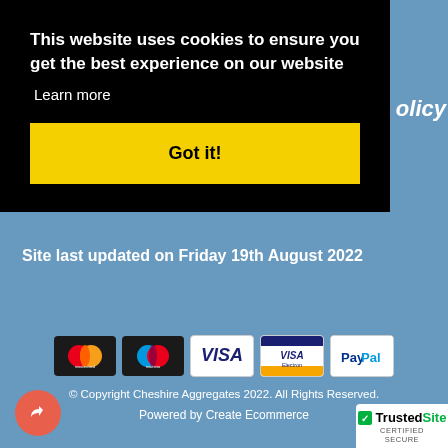This website uses cookies to ensure you get the best experience on our website
Learn more
Got it!
olicy
Site last updated on Friday 19th August 2022
[Figure (other): Payment method icons: Mastercard, Maestro, Visa, Visa Electron, PayPal]
© Copyright Cheshire Aggregates 2022. All Rights Reserved.
Powered by Create Ecommerce
[Figure (other): Circular red back/share button with arrow icon]
[Figure (other): TrustedSite Certified Secure badge]